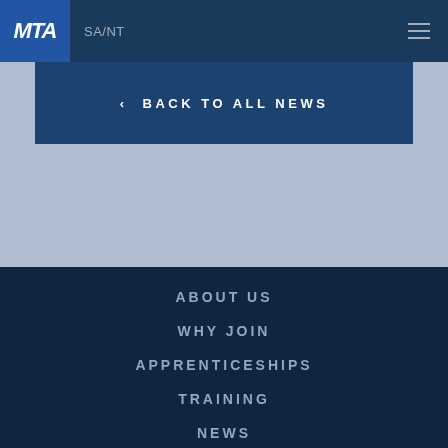MTA SA/NT
‹ BACK TO ALL NEWS
ABOUT US
WHY JOIN
APPRENTICESHIPS
TRAINING
NEWS